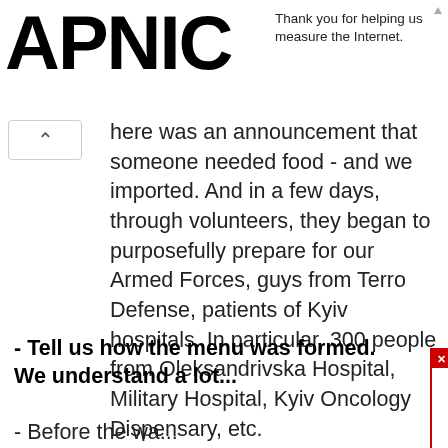APNIC
Thank you for helping us measure the Internet.
here was an announcement that someone needed food - and we imported. And in a few days, through volunteers, they began to purposefully prepare for our Armed Forces, guys from Terro Defense, patients of Kyiv hospitals. In particular, 300 people from Oleksandrivska Hospital, Military Hospital, Kyiv Oncology Dispensary, etc.
- Tell us how the menu was formed. We understand a lot...
- Before the wa...
[Figure (logo): PayPal advertisement overlay with PayPal logo and text 'How can you support Ukraine?']